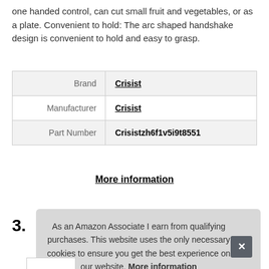one handed control, can cut small fruit and vegetables, or as a plate. Convenient to hold: The arc shaped handshake design is convenient to hold and easy to grasp.
| Brand | Crisist |
| Manufacturer | Crisist |
| Part Number | Crisistzh6f1v5i9t8551 |
More information
3.
As an Amazon Associate I earn from qualifying purchases. This website uses the only necessary cookies to ensure you get the best experience on our website. More information